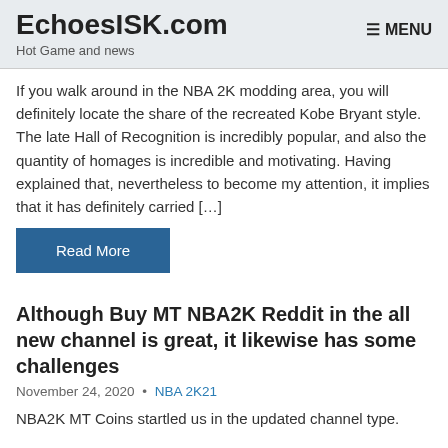EchoesISK.com
Hot Game and news
☰ MENU
If you walk around in the NBA 2K modding area, you will definitely locate the share of the recreated Kobe Bryant style. The late Hall of Recognition is incredibly popular, and also the quantity of homages is incredible and motivating. Having explained that, nevertheless to become my attention, it implies that it has definitely carried […]
Read More
Although Buy MT NBA2K Reddit in the all new channel is great, it likewise has some challenges
November 24, 2020  •  NBA 2K21
NBA2K MT Coins startled us in the updated channel type.